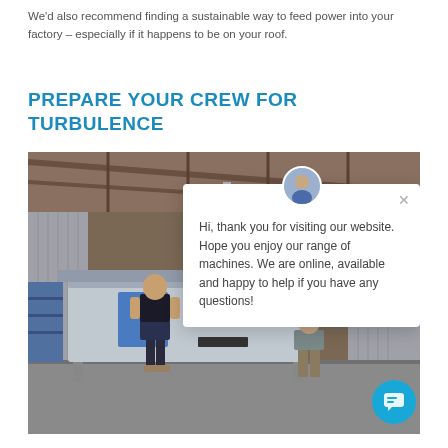We'd also recommend finding a sustainable way to feed power into your factory – especially if it happens to be on your roof.
PREPARE YOUR CREW FOR TURBULENCE
[Figure (photo): A man standing next to a large industrial waterjet cutting machine (branded INNOVYNO) inside a factory warehouse. A chat popup overlay is visible on the right side of the image with a person's avatar and the message: 'Hi, thank you for visiting our website. Hope you enjoy our range of machines. We are online, available and happy to help if you have any questions!'. A blue chat button is in the bottom right corner.]